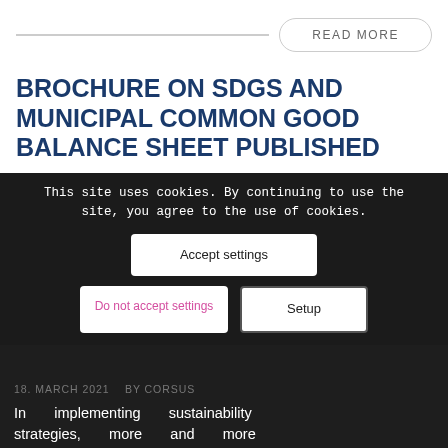READ MORE
BROCHURE ON SDGS AND MUNICIPAL COMMON GOOD BALANCE SHEET PUBLISHED
This site uses cookies. By continuing to use the site, you agree to the use of cookies.
18. MARCH 2021   BY CORSUS
In implementing sustainability strategies, more and more municipalities aligning themselves with the United Nations' Agenda 2030 with its Sustainable Development